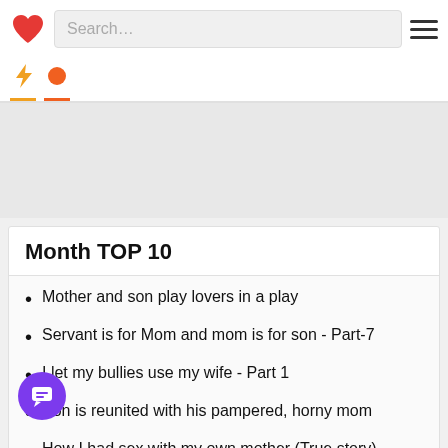Search…
[Figure (screenshot): Website header with red heart logo, search bar, and hamburger menu]
Month TOP 10
Mother and son play lovers in a play
Servant is for Mom and mom is for son - Part-7
I let my bullies use my wife - Part 1
Son is reunited with his pampered, horny mom
How I had sex with my own mother (True story)
Friend's Hot Mom